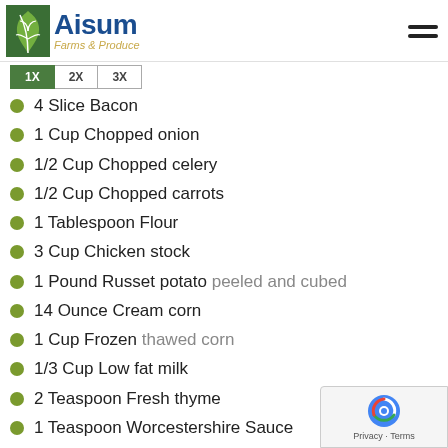Aisum Farms & Produce
4 Slice Bacon
1 Cup Chopped onion
1/2 Cup Chopped celery
1/2 Cup Chopped carrots
1 Tablespoon Flour
3 Cup Chicken stock
1 Pound Russet potato peeled and cubed
14 Ounce Cream corn
1 Cup Frozen thawed corn
1/3 Cup Low fat milk
2 Teaspoon Fresh thyme
1 Teaspoon Worcestershire Sauce
1 Pinch Salt and pepper to taste